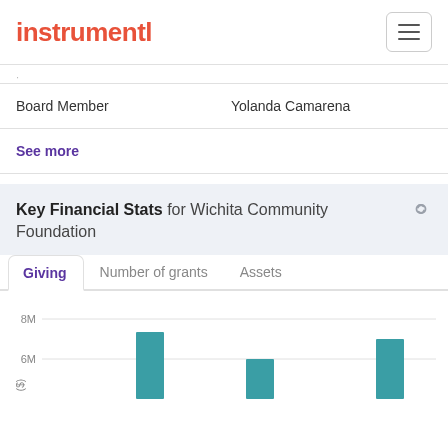instrumentl
| Role | Name |
| --- | --- |
| Board Member | Yolanda Camarena |
See more
Key Financial Stats for Wichita Community Foundation
Giving | Number of grants | Assets
[Figure (bar-chart): Giving]